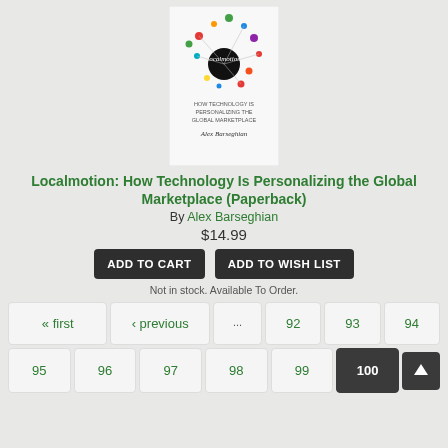[Figure (illustration): Book cover for Localmotion: How Technology Is Personalizing the Global Marketplace by Alex Barseghian, showing a network diagram of colored dots on white background with a black circular logo and cursive title text.]
Localmotion: How Technology Is Personalizing the Global Marketplace (Paperback)
By Alex Barseghian
$14.99
ADD TO CART
ADD TO WISH LIST
Not in stock. Available To Order.
« first  ‹ previous  ...  92  93  94
95  96  97  98  99  100